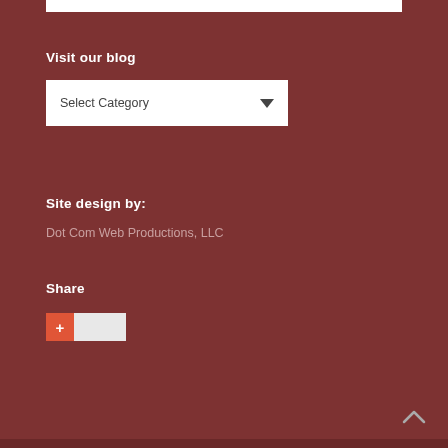Visit our blog
[Figure (screenshot): A dropdown selector UI element with label 'Select Category' and a downward chevron arrow on the right side, white background.]
Site design by:
Dot Com Web Productions, LLC
Share
[Figure (screenshot): AddThis social share widget showing a red '+' button followed by a grey share count box.]